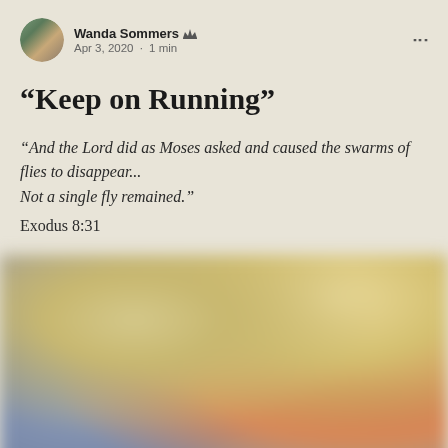Wanda Sommers · Apr 3, 2020 · 1 min
“Keep on Running”
“And the Lord did as Moses asked and caused the swarms of flies to disappear... Not a single fly remained.” Exodus 8:31
[Figure (photo): Blurred abstract image with warm golden and orange tones on the right and cool blue-grey tones on the left, possibly an outdoor sunset scene]